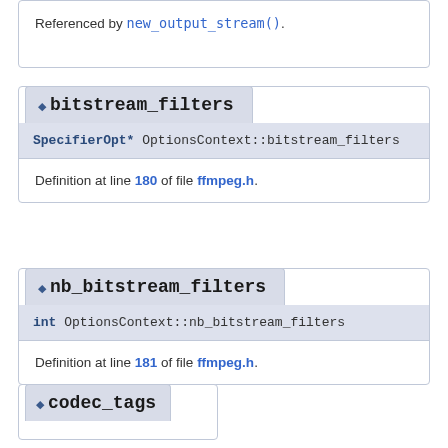Referenced by new_output_stream().
◆ bitstream_filters
SpecifierOpt* OptionsContext::bitstream_filters
Definition at line 180 of file ffmpeg.h.
◆ nb_bitstream_filters
int OptionsContext::nb_bitstream_filters
Definition at line 181 of file ffmpeg.h.
◆ codec_tags